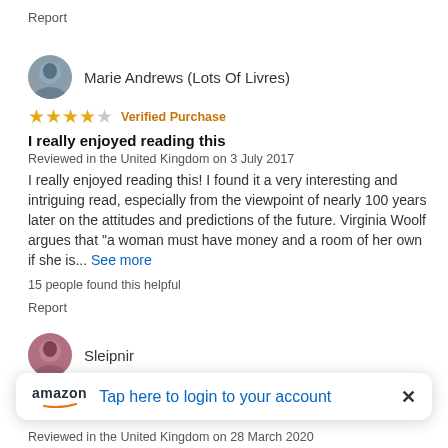Report
Marie Andrews (Lots Of Livres)
★★★★☆ Verified Purchase
I really enjoyed reading this
Reviewed in the United Kingdom on 3 July 2017
I really enjoyed reading this! I found it a very interesting and intriguing read, especially from the viewpoint of nearly 100 years later on the attitudes and predictions of the future. Virginia Woolf argues that "a woman must have money and a room of her own if she is... See more
15 people found this helpful
Report
Sleipnir
Tap here to login to your account
Reviewed in the United Kingdom on 28 March 2020